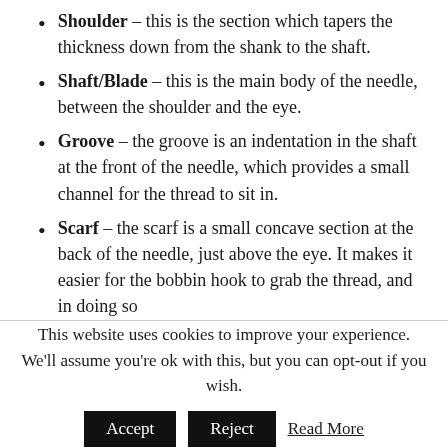Shoulder – this is the section which tapers the thickness down from the shank to the shaft.
Shaft/Blade – this is the main body of the needle, between the shoulder and the eye.
Groove – the groove is an indentation in the shaft at the front of the needle, which provides a small channel for the thread to sit in.
Scarf – the scarf is a small concave section at the back of the needle, just above the eye. It makes it easier for the bobbin hook to grab the thread, and in doing so
This website uses cookies to improve your experience. We'll assume you're ok with this, but you can opt-out if you wish.